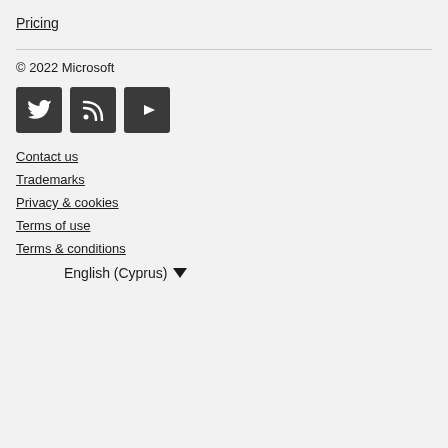Pricing
© 2022 Microsoft
[Figure (infographic): Three social media icons: Twitter bird icon, RSS feed icon, YouTube play button icon — all white on dark square backgrounds]
Contact us
Trademarks
Privacy & cookies
Terms of use
Terms & conditions
English (Cyprus) ▼